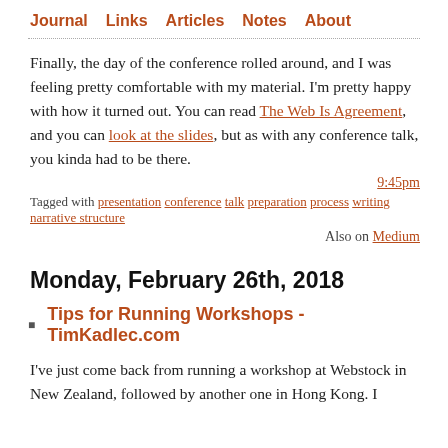Journal  Links  Articles  Notes  About
Finally, the day of the conference rolled around, and I was feeling pretty comfortable with my material. I'm pretty happy with how it turned out. You can read The Web Is Agreement, and you can look at the slides, but as with any conference talk, you kinda had to be there.
9:45pm
Tagged with presentation conference talk preparation process writing narrative structure
Also on Medium
Monday, February 26th, 2018
Tips for Running Workshops - TimKadlec.com
I've just come back from running a workshop at Webstock in New Zealand, followed by another one in Hong Kong. I